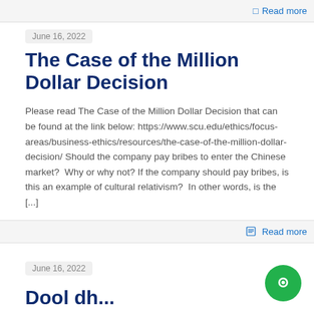Read more
June 16, 2022
The Case of the Million Dollar Decision
Please read The Case of the Million Dollar Decision that can be found at the link below: https://www.scu.edu/ethics/focus-areas/business-ethics/resources/the-case-of-the-million-dollar-decision/ Should the company pay bribes to enter the Chinese market?  Why or why not? If the company should pay bribes, is this an example of cultural relativism?  In other words, is the [...]
Read more
June 16, 2022